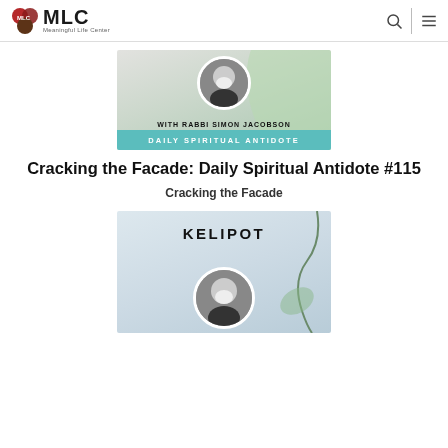MLC Meaningful Life Center
[Figure (photo): Podcast thumbnail image with Rabbi Simon Jacobson portrait in circle, green leaf background, teal banner reading DAILY SPIRITUAL ANTIDOTE, text WITH RABBI SIMON JACOBSON]
Cracking the Facade: Daily Spiritual Antidote #115
Cracking the Facade
[Figure (photo): Thumbnail image with KELIPOT text, Rabbi Simon Jacobson portrait in circle, light blue background with leaf/vine element]